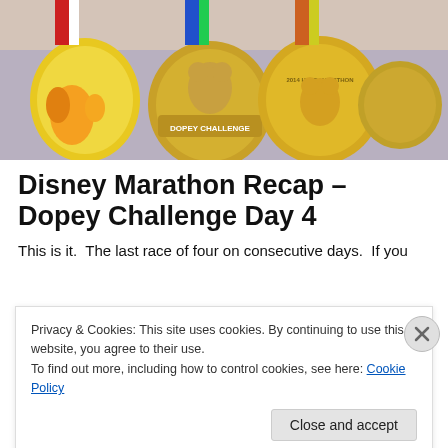[Figure (photo): Hands holding multiple Disney race medals including Dopey Challenge, Half Marathon, and other gold medals with Disney character designs including Pluto and Mickey Mouse]
Disney Marathon Recap – Dopey Challenge Day 4
This is it.  The last race of four on consecutive days.  If you
Privacy & Cookies: This site uses cookies. By continuing to use this website, you agree to their use.
To find out more, including how to control cookies, see here: Cookie Policy
Close and accept